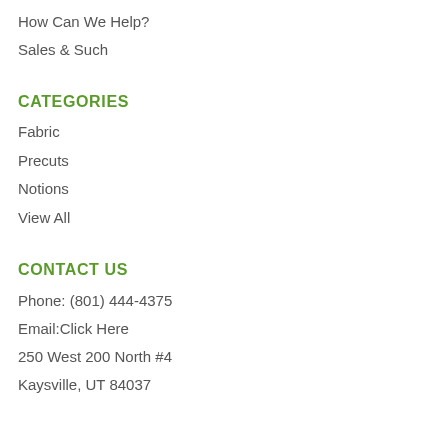How Can We Help?
Sales & Such
CATEGORIES
Fabric
Precuts
Notions
View All
CONTACT US
Phone: (801) 444-4375
Email:Click Here
250 West 200 North #4
Kaysville, UT 84037